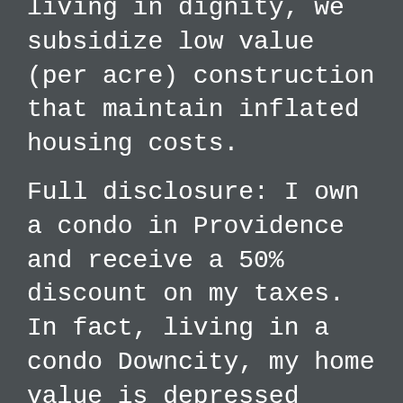living in dignity, we subsidize low value (per acre) construction that maintain inflated housing costs.
Full disclosure: I own a condo in Providence and receive a 50% discount on my taxes. In fact, living in a condo Downcity, my home value is depressed because of the limited ways that I can use it. I could rent my current condo at market rate and lose money because of the doubling in taxes that I would endure versus turning a small monthly profit at the same rent with higher taxes...